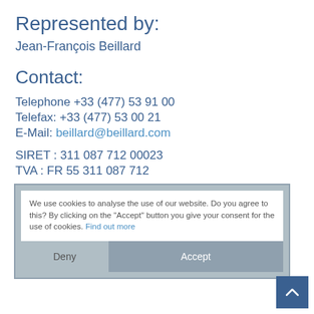Represented by:
Jean-François Beillard
Contact:
Telephone +33 (477) 53 91 00
Telefax: +33 (477) 53 00 21
E-Mail: beillard@beillard.com
SIRET : 311 087 712 00023
TVA : FR 55 311 087 712
Responsible for contents:
Beillard Tubes Carton S.A.
Jean-François Beillard
Z.I. La Chazotte
42350 La Talaudière